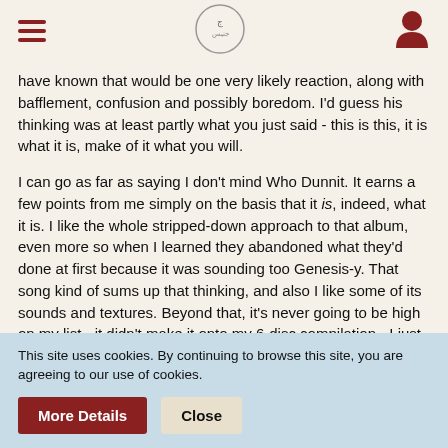[hamburger menu] [site logo] [user icon]
have known that would be one very likely reaction, along with bafflement, confusion and possibly boredom. I'd guess his thinking was at least partly what you just said - this is this, it is what it is, make of it what you will.
I can go as far as saying I don't mind Who Dunnit. It earns a few points from me simply on the basis that it is, indeed, what it is. I like the whole stripped-down approach to that album, even more so when I learned they abandoned what they'd done at first because it was sounding too Genesis-y. That song kind of sums up that thinking, and also I like some of its sounds and textures. Beyond that, it's never going to be high on my list - it didn't make it onto my 6-disc compilation - I just don't detest it in the way many seem to. I don't think it comes under Emperor's New Clothes because it's not pretending to be anything other than what it is.
This site uses cookies. By continuing to browse this site, you are agreeing to our use of cookies.
More Details   Close